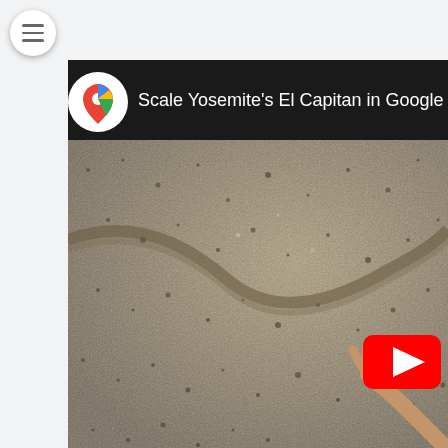[Figure (screenshot): Google Maps YouTube video screenshot showing a rock climber's hand on El Capitan granite rock face at Yosemite. Header bar shows Google Maps pin logo and title 'Scale Yosemite's El Capitan in Google Maps wi...' A YouTube play button is visible in the lower right corner. A hamburger menu icon is in the upper left.]